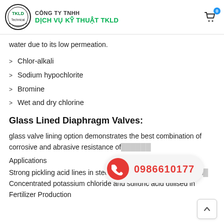CÔNG TY TNHH DỊCH VỤ KỸ THUẬT TKLD
water due to its low permeation.
Chlor-alkali
Sodium hypochlorite
Bromine
Wet and dry chlorine
Glass Lined Diaphragm Valves:
glass valve lining option demonstrates the best combination of corrosive and abrasive resistance of...
Applications
Strong pickling acid lines in steel and other metal manufacturing Concentrated potassium chloride and sulfuric acid utilised in Fertilizer Production